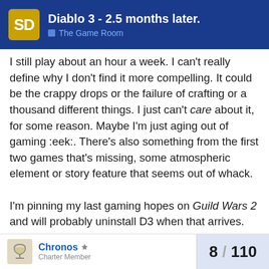Diablo 3 - 2.5 months later. | The Game Room
I still play about an hour a week. I can't really define why I don't find it more compelling. It could be the crappy drops or the failure of crafting or a thousand different things. I just can't care about it, for some reason. Maybe I'm just aging out of gaming :eek:. There's also something from the first two games that's missing, some atmospheric element or story feature that seems out of whack.

I'm pinning my last gaming hopes on Guild Wars 2 and will probably uninstall D3 when that arrives.
ADVERTISEMENT
Chronos
8 / 110